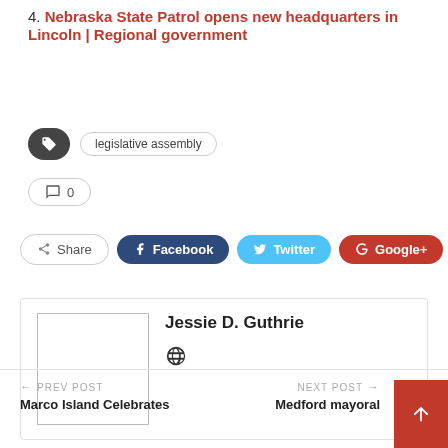4. Nebraska State Patrol opens new headquarters in Lincoln | Regional government
legislative assembly
🗨 0
Share  Facebook  Twitter  Google+  +
Jessie D. Guthrie
← PREV POST  Marco Island Celebrates    NEXT POST →  Medford mayoral